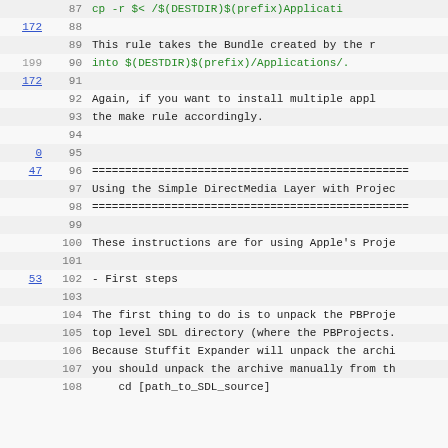Source code viewer showing lines 87-108 of a Makefile/README for Simple DirectMedia Layer (SDL) with ProjectBuilder integration instructions.
87: cp -r $< /$(DESTDIR)$(prefix)Applicati
88: (blank) [annotated 172]
89: This rule takes the Bundle created by the r
90: into $(DESTDIR)$(prefix)/Applications/. [annotated 199]
91: (blank) [annotated 172]
92: Again, if you want to install multiple appl
93: the make rule accordingly.
94: (blank)
95: (blank) [annotated 0]
96: ================================================ [annotated 47]
97: Using the Simple DirectMedia Layer with Projec
98: ================================================
99: (blank)
100: These instructions are for using Apple's Proje
101: (blank)
102: - First steps [annotated 53]
103: (blank)
104: The first thing to do is to unpack the PBProje
105: top level SDL directory (where the PBProjects.
106: Because Stuffit Expander will unpack the archi
107: you should unpack the archive manually from th
108:     cd [path_to_SDL_source]